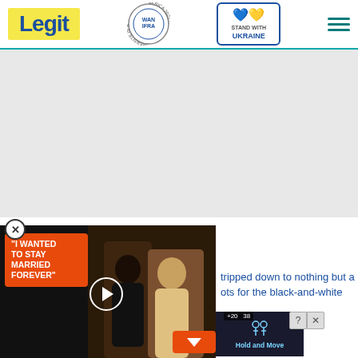Legit — WAN IFRA 2021 Best News Website in Africa | Stand with Ukraine
[Figure (screenshot): Gray advertisement placeholder area]
[Figure (screenshot): Video popup overlay: 'I WANTED TO STAY MARRIED FOREVER' text in orange speech bubble, couple photo, play button]
tripped down to nothing but a ots for the black-and-white
[Figure (screenshot): Bottom advertisement banner for Hold and Move game with outdoor background]